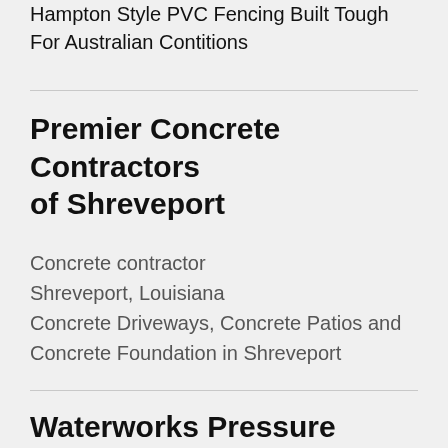Hampton Style PVC Fencing Built Tough For Australian Contitions
Premier Concrete Contractors of Shreveport
Concrete contractor
Shreveport, Louisiana
Concrete Driveways, Concrete Patios and Concrete Foundation in Shreveport
Waterworks Pressure Cleaning
Pressure washing service
Griffin, Georgia
Expert Pressure Washing service in Griffin,